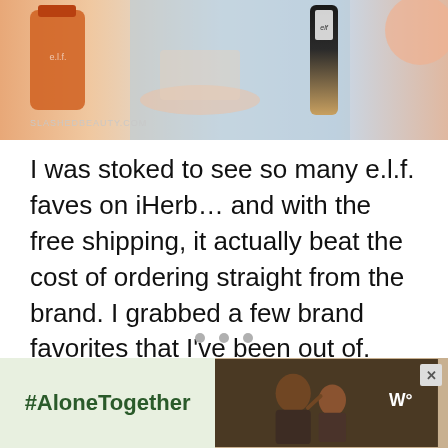[Figure (photo): Photo of e.l.f. cosmetics products including a foundation tube with 'elf' branding, an orange bottle, and beauty items on a light blue/grey surface. Watermark reads SLASHEDBEAUTY.COM]
I was stoked to see so many e.l.f. faves on iHerb… and with the free shipping, it actually beat the cost of ordering straight from the brand. I grabbed a few brand favorites that I've been out of.
[Figure (infographic): Advertisement banner. Left side has light green background with '#AloneTogether' text. Right side shows a photo of a man and child on a dark background with a brand logo resembling three lines (W°). A close/X button is visible in the top right corner of the ad.]